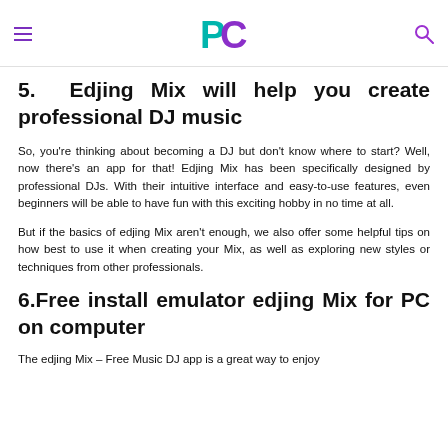PC logo header with hamburger menu and search icon
5. Edjing Mix will help you create professional DJ music
So, you're thinking about becoming a DJ but don't know where to start? Well, now there's an app for that! Edjing Mix has been specifically designed by professional DJs. With their intuitive interface and easy-to-use features, even beginners will be able to have fun with this exciting hobby in no time at all.
But if the basics of edjing Mix aren't enough, we also offer some helpful tips on how best to use it when creating your Mix, as well as exploring new styles or techniques from other professionals.
6.Free install emulator edjing Mix for PC on computer
The edjing Mix – Free Music DJ app is a great way to enjoy